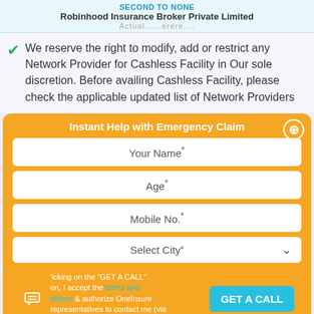Robinhood Insurance Broker Private Limited
We reserve the right to modify, add or restrict any Network Provider for Cashless Facility in Our sole discretion. Before availing Cashless Facility, please check the applicable updated list of Network Providers
Instant Help with Emergency Claim
Your Name*
Age*
Mobile No.*
Select City*
By clicking on the "GET A CALL" button, I accept the terms and conditions & authorize OneInsure representatives to contact me (via Call/SMS/Email).
GET A CALL